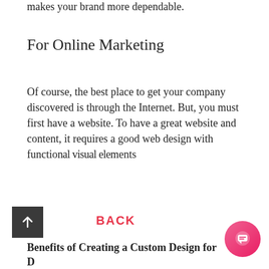makes your brand more dependable.
For Online Marketing
Of course, the best place to get your company discovered is through the Internet. But, you must first have a website. To have a great website and content, it requires a good web design with functional visual elements
BACK
[Figure (other): Chat popup overlay with avatar photo of a man, close button (×), and text: Got any questions? I'm happy to help.]
[Figure (other): Scroll-to-top button: dark gray square with white upward arrow]
Benefits of Creating a Custom Design for D...